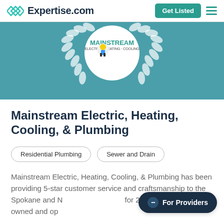Expertise.com — Get Listed
[Figure (logo): Mainstream Electric, Heating, Cooling logo with laurel wreath badge on teal background]
Mainstream Electric, Heating, Cooling, & Plumbing
Residential Plumbing
Sewer and Drain
Mainstream Electric, Heating, Cooling, & Plumbing has been providing 5-star customer service and craftsmanship to the Spokane and N for 20 years. As a locally-owned and op